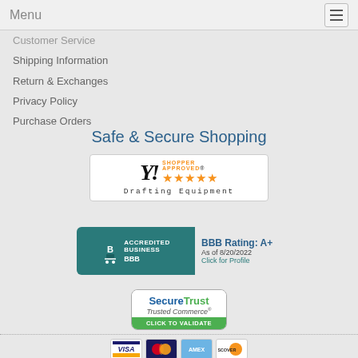Menu
Customer Service
Shipping Information
Return & Exchanges
Privacy Policy
Purchase Orders
Safe & Secure Shopping
[Figure (logo): Shopper Approved 5-star rating badge for Drafting Equipment]
[Figure (logo): BBB Accredited Business badge with A+ rating as of 8/20/2022]
[Figure (logo): SecureTrust Trusted Commerce Click to Validate badge]
[Figure (logo): Payment method icons: Visa, Mastercard, Amex, Discover]